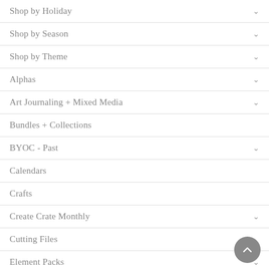Shop by Holiday
Shop by Season
Shop by Theme
Alphas
Art Journaling + Mixed Media
Bundles + Collections
BYOC - Past
Calendars
Crafts
Create Crate Monthly
Cutting Files
Element Packs
Ephemera
Fonts